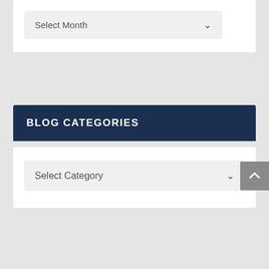Select Month
BLOG CATEGORIES
Select Category